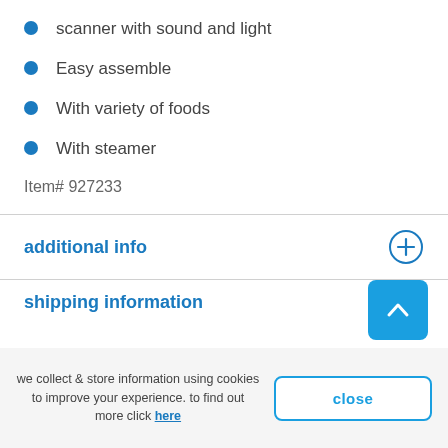scanner with sound and light
Easy assemble
With variety of foods
With steamer
Item# 927233
additional info
shipping information
we collect & store information using cookies to improve your experience. to find out more click here